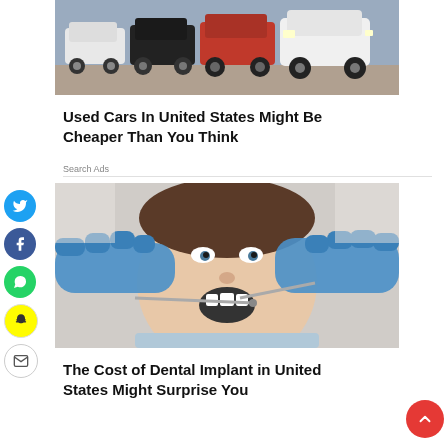[Figure (photo): Row of SUVs and cars parked in a lot, various colors including white, red, black]
Used Cars In United States Might Be Cheaper Than You Think
Search Ads
[Figure (photo): Young woman at dentist with mouth open, dentist wearing blue gloves holding dental tools]
The Cost of Dental Implant in United States Might Surprise You